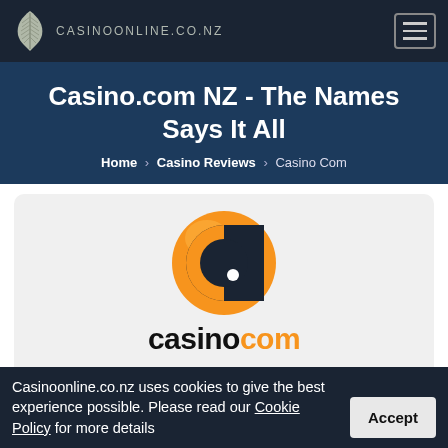CASINOONLINE.CO.NZ
Casino.com NZ - The Names Says It All
Home > Casino Reviews > Casino Com
[Figure (logo): Casino.com circular orange logo with a stylized C shape and white dot]
casino com
One of the best online casinos to play at in New Zealand, Casino.com NZ will not dissapoint. The name can often be realised through a long...
Casinoonline.co.nz uses cookies to give the best experience possible. Please read our Cookie Policy for more details